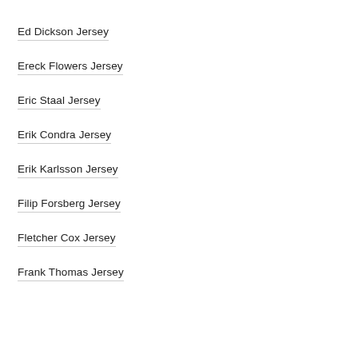Ed Dickson Jersey
Ereck Flowers Jersey
Eric Staal Jersey
Erik Condra Jersey
Erik Karlsson Jersey
Filip Forsberg Jersey
Fletcher Cox Jersey
Frank Thomas Jersey